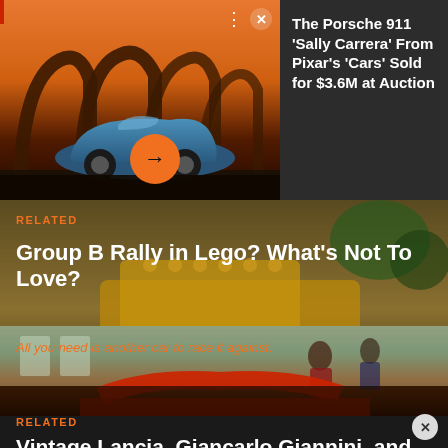[Figure (photo): Advertisement banner showing a blue Porsche 911 in front of arched structures at sunset, with orange arrow button and dots/close controls]
The Porsche 911 'Sally Carrera' From Pixar's 'Cars' Sold for $3.6M at Auction
RELATED
[Figure (photo): Group B Rally Lego car on dark brown background]
Group B Rally in Lego? What's Not To Love?
All you need is another car to race it against.
[Figure (photo): Vintage classic red car with well-dressed people in background, outdoor European setting]
RELATED
Vintage Lancia, Giancarlo Giannini, and Why We Love Italy